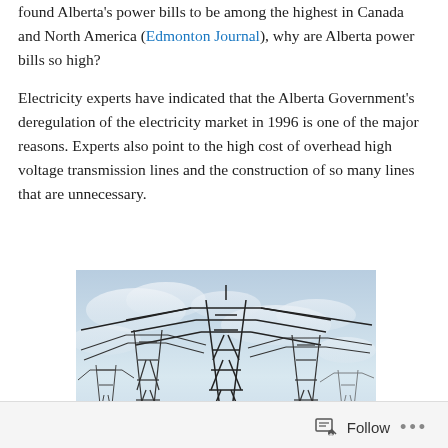found Alberta's power bills to be among the highest in Canada and North America (Edmonton Journal), why are Alberta power bills so high?
Electricity experts have indicated that the Alberta Government's deregulation of the electricity market in 1996 is one of the major reasons. Experts also point to the high cost of overhead high voltage transmission lines and the construction of so many lines that are unnecessary.
[Figure (photo): Photograph of multiple large electrical transmission towers (high voltage power pylons) against a cloudy sky, showing overhead high voltage transmission lines.]
Follow ···